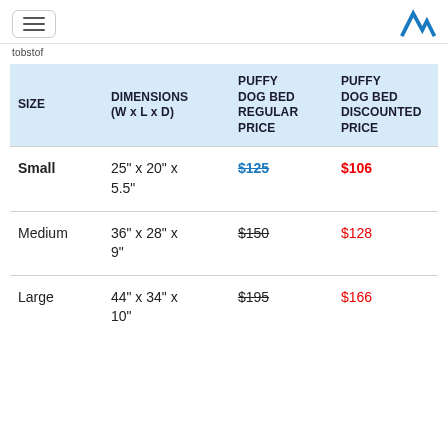[hamburger menu] [M logo]
tobstof
| SIZE | DIMENSIONS (W x L x D) | PUFFY DOG BED REGULAR PRICE | PUFFY DOG BED DISCOUNTED PRICE |
| --- | --- | --- | --- |
| Small | 25" x 20" x 5.5" | $125 | $106 |
| Medium | 36" x 28" x 9" | $150 | $128 |
| Large | 44" x 34" x 10" | $195 | $166 |